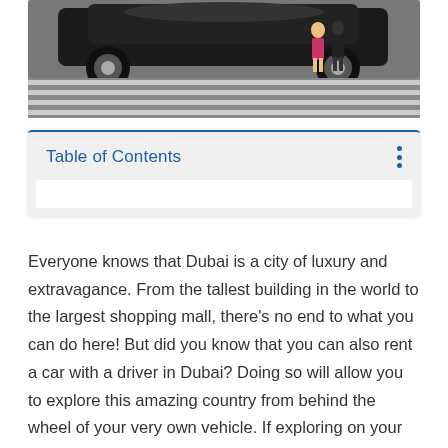[Figure (photo): A black luxury car on a zebra crossing with a person standing beside it, viewed from above/front angle.]
Table of Contents
Everyone knows that Dubai is a city of luxury and extravagance. From the tallest building in the world to the largest shopping mall, there’s no end to what you can do here! But did you know that you can also rent a car with a driver in Dubai? Doing so will allow you to explore this amazing country from behind the wheel of your very own vehicle. If exploring on your own